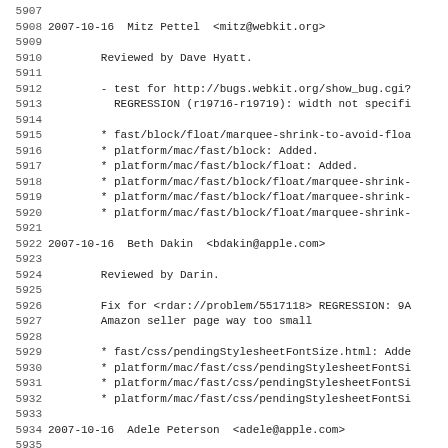Source code / changelog log view showing lines 5907-5939 with commit entries for 2007-10-16 by Mitz Pettel, Beth Dakin, and Adele Peterson
5908: 2007-10-16  Mitz Pettel  <mitz@webkit.org>
5910:         Reviewed by Dave Hyatt.
5912:         - test for http://bugs.webkit.org/show_bug.cgi?
5913:           REGRESSION (r19716-r19719): width not specifi
5915:         * fast/block/float/marquee-shrink-to-avoid-flo
5916:         * platform/mac/fast/block: Added.
5917:         * platform/mac/fast/block/float: Added.
5918:         * platform/mac/fast/block/float/marquee-shrink-
5919:         * platform/mac/fast/block/float/marquee-shrink-
5920:         * platform/mac/fast/block/float/marquee-shrink-
5922: 2007-10-16  Beth Dakin  <bdakin@apple.com>
5924:         Reviewed by Darin.
5926:         Fix for <rdar://problem/5517118> REGRESSION: 9A
5927:         Amazon seller page way too small
5929:         * fast/css/pendingStylesheetFontSize.html: Adde
5930:         * platform/mac/fast/css/pendingStylesheetFontSi
5931:         * platform/mac/fast/css/pendingStylesheetFontSi
5932:         * platform/mac/fast/css/pendingStylesheetFontSi
5934: 2007-10-16  Adele Peterson  <adele@apple.com>
5936:         Reviewed by Alice.
5938:         Updating with correct results for:
5939:         <rdar://problem/5538793> REGRESSION: Failing la